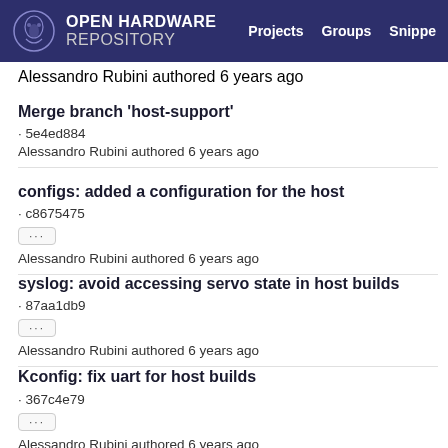OPEN HARDWARE REPOSITORY  Projects  Groups  Snippe...
Alessandro Rubini authored 6 years ago
Merge branch 'host-support'
· 5e4ed884
Alessandro Rubini authored 6 years ago
configs: added a configuration for the host
· c8675475
···
Alessandro Rubini authored 6 years ago
syslog: avoid accessing servo state in host builds
· 87aa1db9
···
Alessandro Rubini authored 6 years ago
Kconfig: fix uart for host builds
· 367c4e79
···
Alessandro Rubini authored 6 years ago